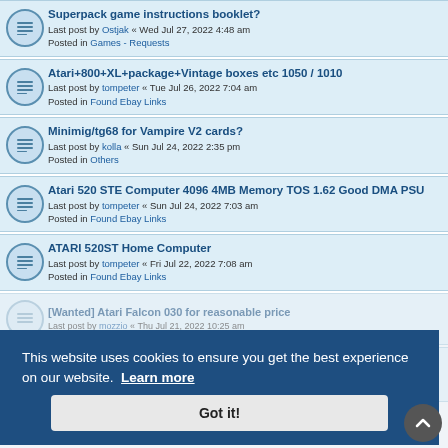Superpack game instructions booklet?
Last post by Ostjak « Wed Jul 27, 2022 4:48 am
Posted in Games - Requests
Atari+800+XL+package+Vintage boxes etc 1050 / 1010
Last post by tompeter « Tue Jul 26, 2022 7:04 am
Posted in Found Ebay Links
Minimig/tg68 for Vampire V2 cards?
Last post by kolla « Sun Jul 24, 2022 2:35 pm
Posted in Others
Atari 520 STE Computer 4096 4MB Memory TOS 1.62 Good DMA PSU
Last post by tompeter « Sun Jul 24, 2022 7:03 am
Posted in Found Ebay Links
ATARI 520ST Home Computer
Last post by tompeter « Fri Jul 22, 2022 7:08 am
Posted in Found Ebay Links
[Wanted] Atari Falcon 030 for reasonable price
Last post by mozzio « Thu Jul 21, 2022 10:25 am
ATARI 1040 STE COMPUTER (GOOD DMA, 4MB RAM) + SM134 MONITOR
Last post by tompeter « Mon Jul 18, 2022 7:15 am
Posted in Found Ebay Links
This website uses cookies to ensure you get the best experience on our website. Learn more
Got it!